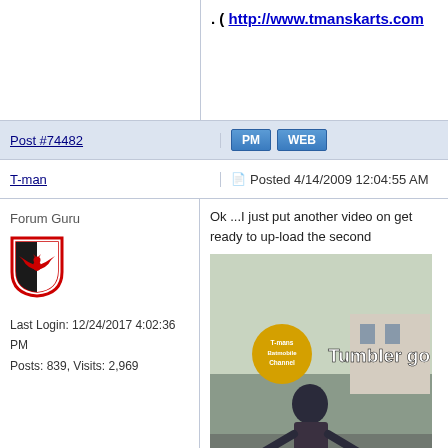. ( http://www.tmanskarts.com
Post #74482
PM  WEB
T-man
Posted 4/14/2009 12:04:55 AM
Forum Guru
Last Login: 12/24/2017 4:02:36 PM
Posts: 839, Visits: 2,969
Ok ...I just put another video on get ready to up-load the second
[Figure (screenshot): YouTube video thumbnail showing a man pushing/riding a tumbler go-kart in a parking lot. Overlay text reads 'Tumbler go kart' and a yellow circular badge reads 'T-mans Batmobile Channel'.]